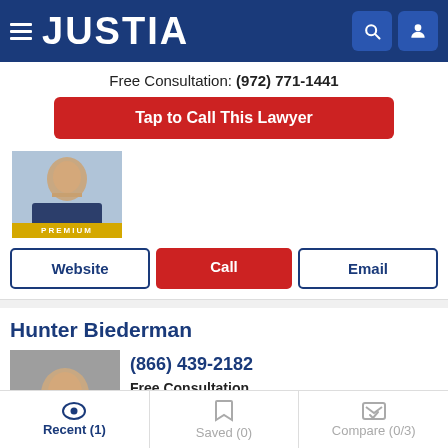JUSTIA
Free Consultation: (972) 771-1441
Tap to Call This Lawyer
[Figure (photo): Lawyer headshot with PREMIUM badge]
Website | Call | Email
Hunter Biederman
[Figure (photo): Hunter Biederman headshot with PREMIUM badge]
(866) 439-2182
Free Consultation
Frisco, TX
Recent (1) | Saved (0) | Compare (0/3)